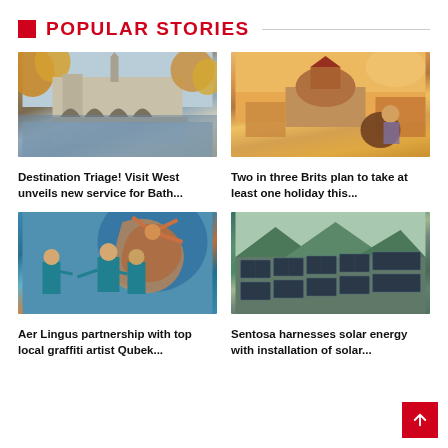POPULAR STORIES
[Figure (photo): Historic stone bridge with arched spans reflected in a river, surrounded by autumn trees]
Destination Triage! Visit West unveils new service for Bath...
[Figure (photo): Two people sitting on a rooftop with a domed historic building in golden sunset light]
Two in three Brits plan to take at least one holiday this...
[Figure (photo): People posing in front of colorful street graffiti mural]
Aer Lingus partnership with top local graffiti artist Qubek...
[Figure (photo): Solar panels installed on a hillside with green mountains in the background]
Sentosa harnesses solar energy with installation of solar...